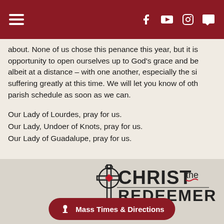Navigation header with hamburger menu and social icons (Facebook, YouTube, Instagram, Chat)
about. None of us chose this penance this year, but it is opportunity to open ourselves up to God's grace and be albeit at a distance – with one another, especially the si suffering greatly at this time. We will let you know of oth parish schedule as soon as we can.
Our Lady of Lourdes, pray for us.
Our Lady, Undoer of Knots, pray for us.
Our Lady of Guadalupe, pray for us.
[Figure (logo): Christ the Redeemer parish logo with Celtic cross and chalice symbol]
Mass Times & Directions